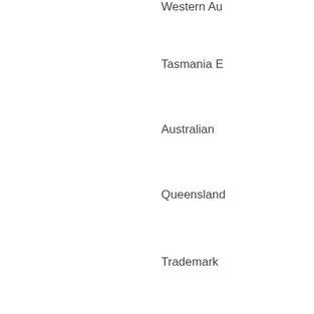Western Au
Tasmania E
Australian
Queensland
Trademark
ARBN
Other
EligibilityID (An
Eligibility button
Entity type (Ancho
EligibilityID sub
Commerci